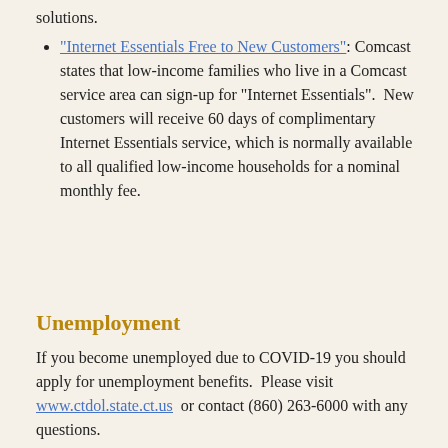solutions.
"Internet Essentials Free to New Customers": Comcast states that low-income families who live in a Comcast service area can sign-up for “Internet Essentials”. New customers will receive 60 days of complimentary Internet Essentials service, which is normally available to all qualified low-income households for a nominal monthly fee.
Unemployment
If you become unemployed due to COVID-19 you should apply for unemployment benefits. Please visit www.ctdol.state.ct.us or contact (860) 263-6000 with any questions.